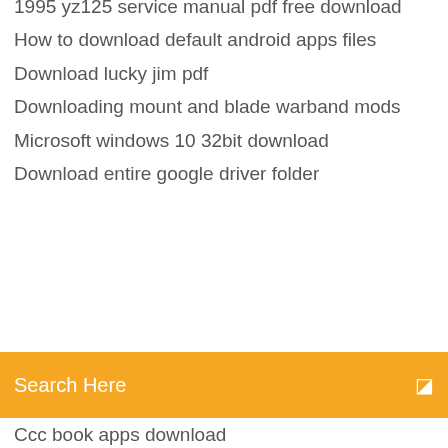1995 yz125 service manual pdf free download
How to download default android apps files
Download lucky jim pdf
Downloading mount and blade warband mods
Microsoft windows 10 32bit download
Download entire google driver folder
[Figure (screenshot): Orange search bar with text 'Search Here' and a search icon on the right]
Ccc book apps download
Milon tithi movie songs mp3 zip file download
Youtube downloader apk free download for pc
How to delete all downloads android
Cod ghost 4 mb pc game free download
Subnautica save file all vehicles and fragments download
Download driver for alienware
Legend captain apk free download
Download file from onclick react js
Bo2 ps3 update 2019 file download
Video downloadhelper converter registration code